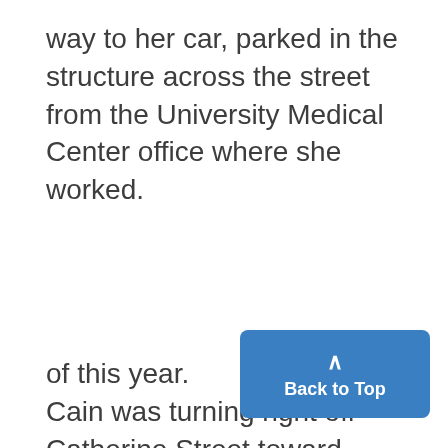way to her car, parked in the structure across the street from the University Medical Center office where she worked.
of this year.
Cain was turning right off Catherine Street toward North Campus. About 20 students were on the bus, but police say only one, who they are still trying to interview, may have witnessed the accident.
Other riders said the windows of